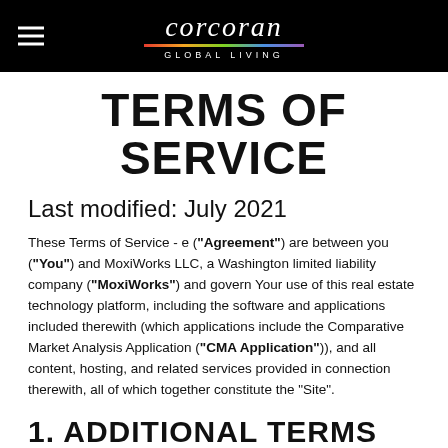corcoran GLOBAL LIVING
TERMS OF SERVICE
Last modified: July 2021
These Terms of Service - e (“Agreement”) are between you (“You”) and MoxiWorks LLC, a Washington limited liability company (“MoxiWorks”) and govern Your use of this real estate technology platform, including the software and applications included therewith (which applications include the Comparative Market Analysis Application (“CMA Application”)), and all content, hosting, and related services provided in connection therewith, all of which together constitute the “Site”.
1. ADDITIONAL TERMS